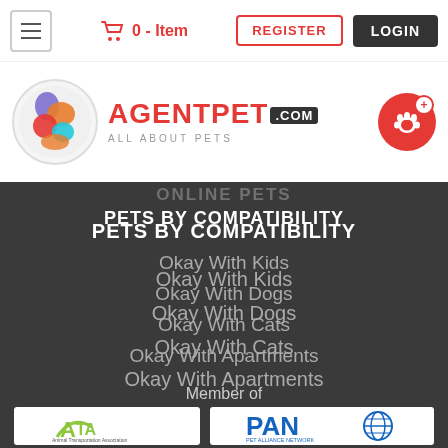0 - Item  REGISTER  LOGIN
[Figure (logo): AgentPet.com All About Pets logo with colorful animal circle icon and paw print button]
ONLINE PETS (partially visible)
PETS BY COMPATIBILITY
Okay With Kids
Okay With Dogs
Okay With Cats
Okay With Apartments
Member of
[Figure (logo): ATA Animal Transportation Association logo]
[Figure (logo): PAN Pet Alliance Network logo]